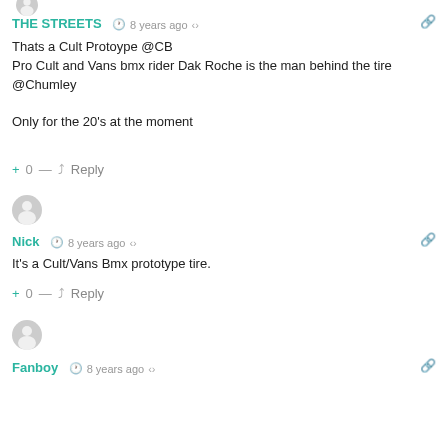[Figure (illustration): Partial avatar circle at top, grey user silhouette]
THE STREETS  🕐 8 years ago  🔗 Reply
Thats a Cult Protoype @CB
Pro Cult and Vans bmx rider Dak Roche is the man behind the tire @Chumley

Only for the 20's at the moment
+ 0 — ↳ Reply
[Figure (illustration): Grey avatar circle with user silhouette icon]
Nick  🕐 8 years ago  share
It's a Cult/Vans Bmx prototype tire.
+ 0 — ↳ Reply
[Figure (illustration): Grey avatar circle with user silhouette icon]
Fanboy  🕐 8 years ago  share